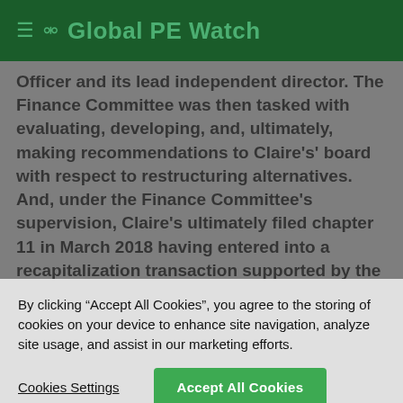Global PE Watch
Officer and its lead independent director. The Finance Committee was then tasked with evaluating, developing, and, ultimately, making recommendations to Claire's' board with respect to restructuring alternatives. And, under the Finance Committee's supervision, Claire's ultimately filed chapter 11 in March 2018 having entered into a recapitalization transaction supported by the substantial majority of
By clicking “Accept All Cookies”, you agree to the storing of cookies on your device to enhance site navigation, analyze site usage, and assist in our marketing efforts.
Cookies Settings
Accept All Cookies